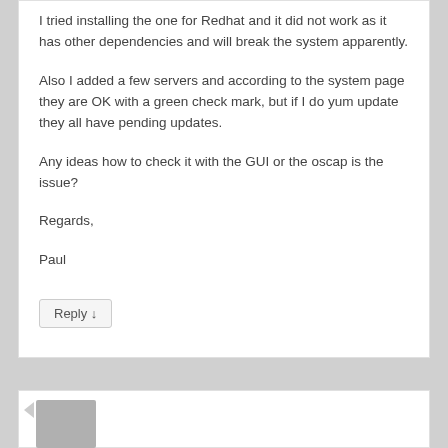I tried installing the one for Redhat and it did not work as it has other dependencies and will break the system apparently.

Also I added a few servers and according to the system page they are OK with a green check mark, but if I do yum update they all have pending updates.

Any ideas how to check it with the GUI or the oscap is the issue?

Regards,

Paul
Reply ↓